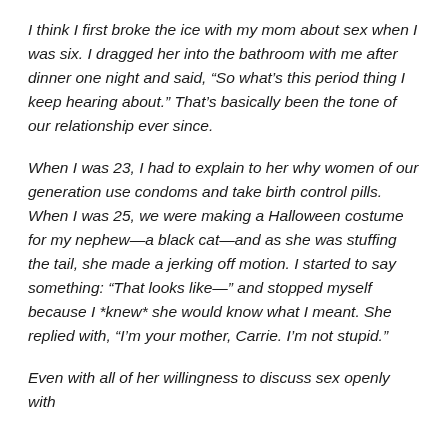I think I first broke the ice with my mom about sex when I was six. I dragged her into the bathroom with me after dinner one night and said, “So what’s this period thing I keep hearing about.” That’s basically been the tone of our relationship ever since.
When I was 23, I had to explain to her why women of our generation use condoms and take birth control pills. When I was 25, we were making a Halloween costume for my nephew—a black cat—and as she was stuffing the tail, she made a jerking off motion. I started to say something: “That looks like—” and stopped myself because I *knew* she would know what I meant. She replied with, “I’m your mother, Carrie. I’m not stupid.”
Even with all of her willingness to discuss sex openly with